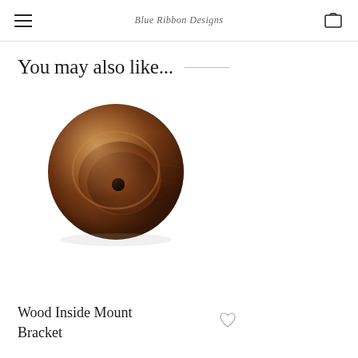Blue Ribbon Designs (logo/brand name)
You may also like...
[Figure (photo): A round wooden bracket with a carved concave interior and a small hole, photographed from above on a white background. The wood has warm brown tones with natural grain patterns.]
Wood Inside Mount Bracket